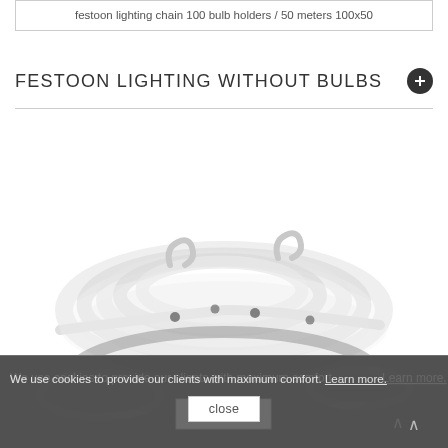festoon lighting chain 100 bulb holders / 50 meters 100x50
FESTOON LIGHTING WITHOUT BULBS
[Figure (photo): Coiled white festoon lighting cable with bulb holders, shown from above against white background. A cookie consent overlay with dark semi-transparent bar covers the bottom portion.]
We use cookies to provide our clients with maximum comfort. Learn more.